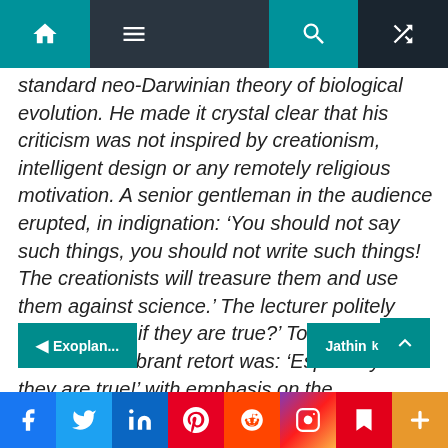[Navigation bar with home, menu, search, and shuffle icons]
standard neo-Darwinian theory of biological evolution. He made it crystal clear that his criticism was not inspired by creationism, intelligent design or any remotely religious motivation. A senior gentleman in the audience erupted, in indignation: ‘You should not say such things, you should not write such things! The creationists will treasure them and use them against science.’ The lecturer politely asked: ‘Even if they are true?’ To which the instant and vibrant retort was: ‘Especially if they are true!’ with emphasis on the ‘especially’.
◄ Exoplan... | Jathink ►
Social share buttons: Facebook, Twitter, LinkedIn, Pinterest, Reddit, Instagram, Flipboard, Plus